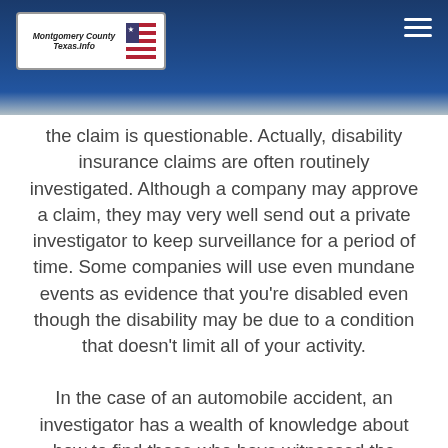Montgomery County Texas Info
the claim is questionable. Actually, disability insurance claims are often routinely investigated. Although a company may approve a claim, they may very well send out a private investigator to keep surveillance for a period of time. Some companies will use even mundane events as evidence that you're disabled even though the disability may be due to a condition that doesn't limit all of your activity.
In the case of an automobile accident, an investigator has a wealth of knowledge about how to find those who have witnessed the accident, although this isn't an easy task.
Why Hire a Private Investigator